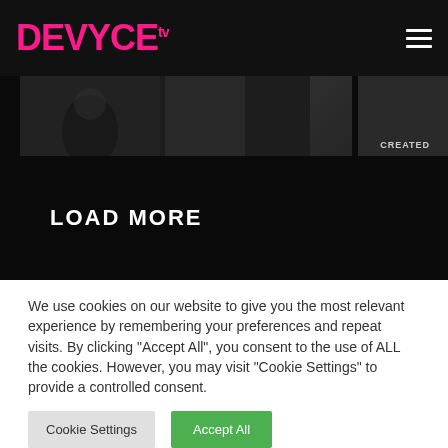DEVYCE tv
[Figure (screenshot): Dark website header with DEVYCE tv logo in pink on the left and hamburger menu icon on the right. A blurred video thumbnail strip runs below the header with a 'CREATED' label visible on the right side.]
LOAD MORE
We use cookies on our website to give you the most relevant experience by remembering your preferences and repeat visits. By clicking "Accept All", you consent to the use of ALL the cookies. However, you may visit "Cookie Settings" to provide a controlled consent.
Cookie Settings
Accept All